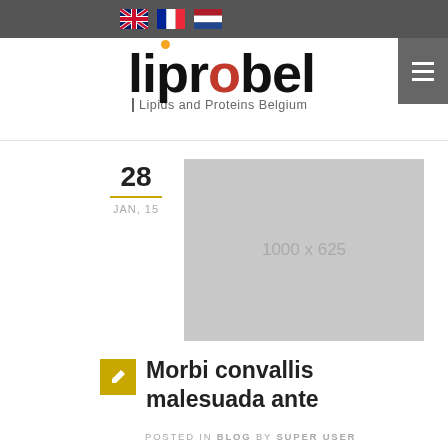Language flags: English, French, Dutch
[Figure (logo): Liprobel logo — Lipids and Proteins Belgium — with orange dot over the 'i' and red 'o', hamburger menu button top right]
28
JAN, 15
[Figure (photo): Placeholder image 1000 x 625]
Morbi convallis malesuada ante
POSTED IN BLOG BY SUPER USER